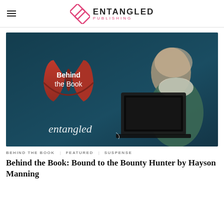ENTANGLED PUBLISHING
[Figure (illustration): Behind the Book promotional image for Entangled Publishing. Red open book logo with white text 'Behind the Book' on a dark teal background, with a woman sitting cross-legged using a laptop. 'entangled' text in white decorative font at the bottom left.]
BEHIND THE BOOK   FEATURED   SUSPENSE
Behind the Book: Bound to the Bounty Hunter by Hayson Manning